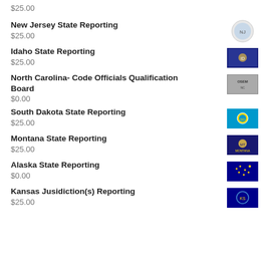$25.00
New Jersey State Reporting
$25.00
Idaho State Reporting
$25.00
North Carolina- Code Officials Qualification Board
$0.00
South Dakota State Reporting
$25.00
Montana State Reporting
$25.00
Alaska State Reporting
$0.00
Kansas Jusidiction(s) Reporting
$25.00